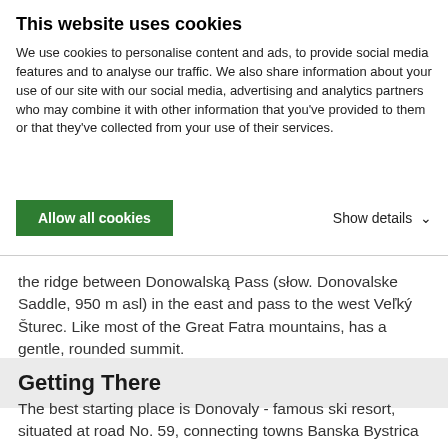This website uses cookies
We use cookies to personalise content and ads, to provide social media features and to analyse our traffic. We also share information about your use of our site with our social media, advertising and analytics partners who may combine it with other information that you've provided to them or that they've collected from your use of their services.
Allow all cookies
Show details
the ridge between Donowalską Pass (słow. Donovalske Saddle, 950 m asl) in the east and pass to the west Veľký Šturec. Like most of the Great Fatra mountains, has a gentle, rounded summit.
Getting There
The best starting place is Donovaly - famous ski resort, situated at road No. 59, connecting towns Banska Bystrica and Ruzemberok.
From Donovaly there`s cabin - chairlift to Nova Hola, from here is only several minutes approach, without lift - from Donovaly - about 1 hour to summit. Summit offers